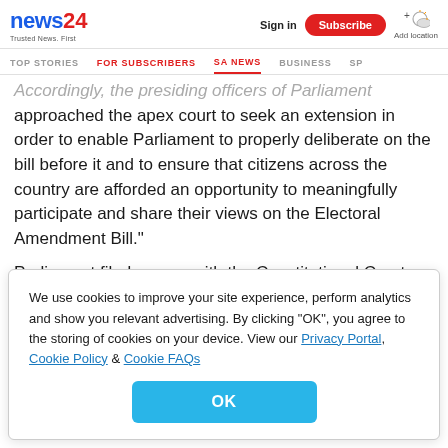news24 - Trusted News. First | Sign in | Subscribe | Add location
TOP STORIES | FOR SUBSCRIBERS | SA NEWS | BUSINESS | SP...
Accordingly, the presiding officers of Parliament approached the apex court to seek an extension in order to enable Parliament to properly deliberate on the bill before it and to ensure that citizens across the country are afforded an opportunity to meaningfully participate and share their views on the Electoral Amendment Bill."
Parliament filed papers with the Constitutional Court on
We use cookies to improve your site experience, perform analytics and show you relevant advertising. By clicking "OK", you agree to the storing of cookies on your device. View our Privacy Portal, Cookie Policy & Cookie FAQs
OK